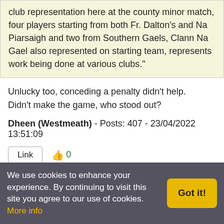club representation here at the county minor match, four players starting from both Fr. Dalton's and Na Piarsaigh and two from Southern Gaels, Clann Na Gael also represented on starting team, represents work being done at various clubs."
Unlucky too, conceding a penalty didn't help.
Didn't make the game, who stood out?
Dheen (Westmeath) - Posts: 407 - 23/04/2022 13:51:09
Link  👍0
Best of luck to the senior side against Galway today. Hopefully a good performance for the entire 70 minutes as well as keeping 15 on the field.
I can only assume Galway will turn up today after the fall off last weekend. There will be a lot to be learned.
We use cookies to enhance your experience. By continuing to visit this site you agree to our use of cookies. More info